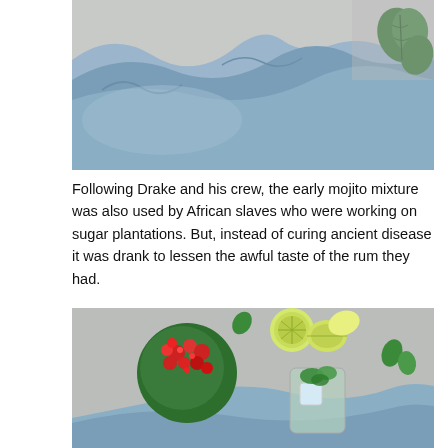[Figure (photo): Top-down photo showing a blue draped fabric cloth on a grey surface with green basil leaves in the top right corner.]
Following Drake and his crew, the early mojito mixture was also used by African slaves who were working on sugar plantations. But, instead of curing ancient disease it was drank to lessen the awful taste of the rum they had.
[Figure (photo): Top-down photo of mojito ingredients on a grey stone surface: red flowering plant (kalanchoe), sliced limes/lemons, scattered mint leaves, a glass with ice and mint garnish, and a blue draped fabric cloth.]